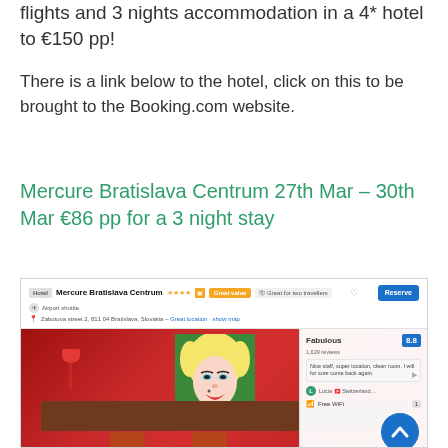flights and 3 nights accommodation in a 4* hotel to €150 pp!
There is a link below to the hotel, click on this to be brought to the Booking.com website.
Mercure Bratislava Centrum 27th Mar – 30th Mar €86 pp for a 3 night stay
[Figure (screenshot): Screenshot of Booking.com listing for Mercure Bratislava Centrum hotel, showing hotel name with 4-star rating, orange 'Great value' and grey 'Great for two travellers' badges, a Reserve button, airport shuttle info, address 'Zabotova street 2, 811 04 Bratislava, Slovakia - Great location - show map', and a hotel room photo featuring a large Andy Warhol-style Marilyn Monroe painting on a red wall, red lamp, orange pillows. Review panel shows 'Fabulous' rating, 1,629 reviews, a user review reading 'Nice staff, super location, clean room. I will for sure come back again.' from Lucia from Switzerland, and 'Free WiFi' amenity. Blue back-to-top button in bottom right corner.]